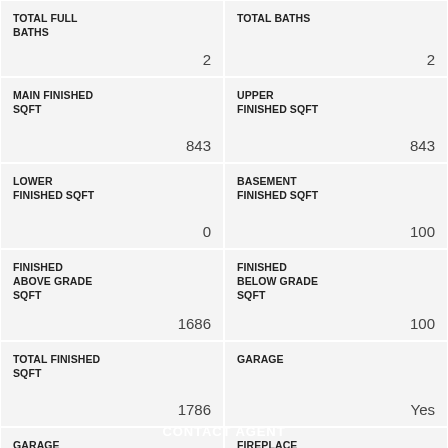| TOTAL FULL BATHS | 2 | TOTAL BATHS | 2 |
| MAIN FINISHED SQFT | 843 | UPPER FINISHED SQFT | 843 |
| LOWER FINISHED SQFT | 0 | BASEMENT FINISHED SQFT | 100 |
| FINISHED ABOVE GRADE SQFT | 1686 | FINISHED BELOW GRADE SQFT | 100 |
| TOTAL FINISHED SQFT | 1786 | GARAGE | Yes |
| GARAGE SPACES | 2 | FIREPLACE | No |
| ACCESSIBILITY FEATURES | No | ASSOCIATION | No |
CONTACT AGENT